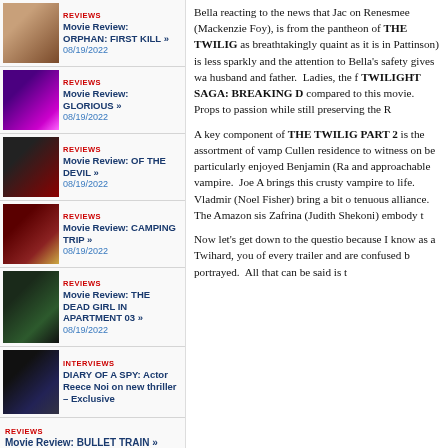REVIEWS
Movie Review: ORPHAN: FIRST KILL »
08/19/2022
REVIEWS
Movie Review: GLORIOUS »
08/19/2022
REVIEWS
Movie Review: OF THE DEVIL »
08/19/2022
REVIEWS
Movie Review: CAMPING TRIP »
08/19/2022
REVIEWS
Movie Review: THE DEAD GIRL IN APARTMENT 03 »
08/19/2022
INTERVIEWS
DIARY OF A SPY: Actor Reece Noi on new thriller – Exclusive
REVIEWS
Movie Review: BULLET TRAIN »
08/05/2022
Bella reacting to the news that Jac on Renesmee (Mackenzie Foy), is from the pantheon of THE TWILIG as breathtakingly quaint as it is in Pattinson) is less sparkly and the attention to Bella's safety gives wa husband and father. Ladies, the f TWILIGHT SAGA: BREAKING D compared to this movie. Props to passion while still preserving the R
A key component of THE TWILIG PART 2 is the assortment of vamp Cullen residence to witness on be particularly enjoyed Benjamin (Ra and approachable vampire. Joe A brings this crusty vampire to life. Vladmir (Noel Fisher) bring a bit o tenuous alliance. The Amazon sis Zafrina (Judith Shekoni) embody t
Now let's get down to the questio because I know as a Twihard, you of every trailer and are confused b portrayed. All that can be said is t